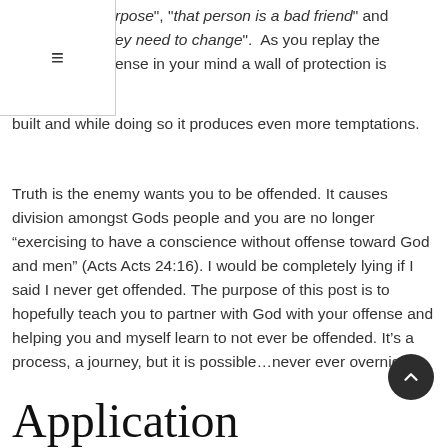rpose", "that person is a bad friend" and ey need to change".  As you replay the ense in your mind a wall of protection is built and while doing so it produces even more temptations.
Truth is the enemy wants you to be offended. It causes division amongst Gods people and you are no longer “exercising to have a conscience without offense toward God and men” (Acts Acts 24:16). I would be completely lying if I said I never get offended. The purpose of this post is to hopefully teach you to partner with God with your offense and helping you and myself learn to not ever be offended. It’s a process, a journey, but it is possible…never ever overnight.
Application